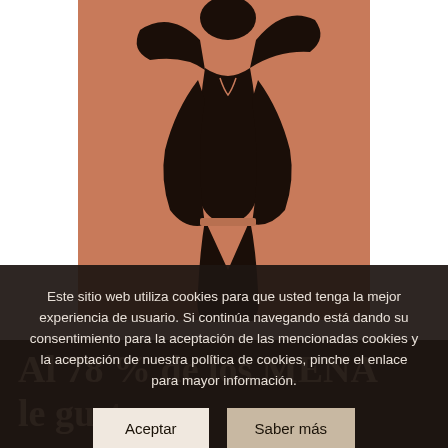[Figure (illustration): Stylized illustration of a person in dark clothing with arms raised, on a salmon/terracotta background. The figure is shown from behind, wearing dark top and lighter trousers, on a muted coral-orange background.]
Este sitio web utiliza cookies para que usted tenga la mejor experiencia de usuario. Si continúa navegando está dando su consentimiento para la aceptación de las mencionadas cookies y la aceptación de nuestra política de cookies, pinche el enlace para mayor información.
Aceptar
Saber más
Al 78 % de los MENA le gu... con extra de queso